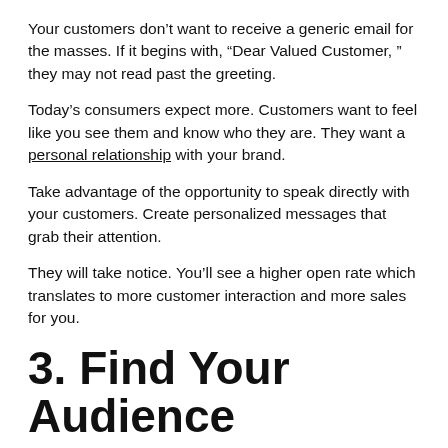Your customers don’t want to receive a generic email for the masses. If it begins with, “Dear Valued Customer, ” they may not read past the greeting.
Today’s consumers expect more. Customers want to feel like you see them and know who they are. They want a personal relationship with your brand.
Take advantage of the opportunity to speak directly with your customers. Create personalized messages that grab their attention.
They will take notice. You’ll see a higher open rate which translates to more customer interaction and more sales for you.
3. Find Your Audience